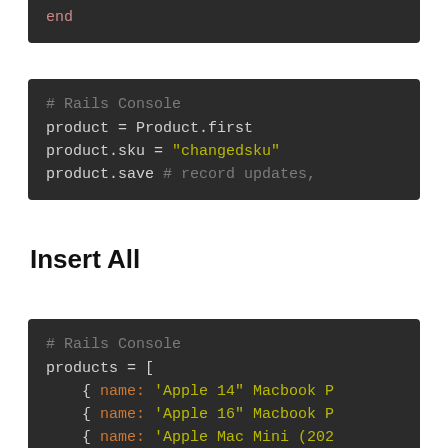[Figure (screenshot): Dark code block showing Rails Console code: product = Product.first, product.sku = "changedsku", product.save # record updates,]
Insert All
[Figure (screenshot): Dark code block showing Rails Console code: products = [ { name: 'Apple 14" Macbook P', { name: 'Apple 16" Macbook P', { name: 'Apple Mac Mini (202', { name: 'Apple Mac Studio(]